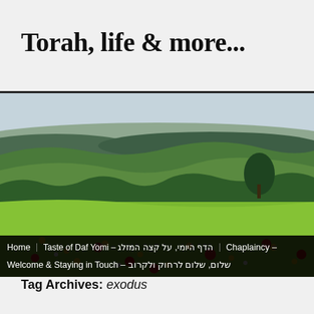Torah, life & more...
[Figure (photo): Landscape photo showing green rolling hills with wildflowers in the foreground including red poppies and yellow flowers, shrubs and trees in the middle ground, and a hazy sky above.]
Home   Taste of Daf Yomi – הדף היומי, על קצה המזלג   Chaplaincy –   Welcome & Staying in Touch – שלום, שלום לרחוק ולקרוב
Tag Archives: exodus